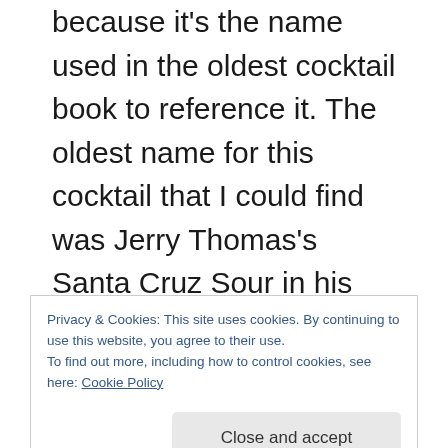because it's the name used in the oldest cocktail book to reference it. The oldest name for this cocktail that I could find was Jerry Thomas's Santa Cruz Sour in his 1862 edition of The Bartenders Guide. The reason he used that name was the island the very popular Cruzan rum used in the cocktail came from was St. Croix, but he used the original Spanish spelling of the
Privacy & Cookies: This site uses cookies. By continuing to use this website, you agree to their use.
To find out more, including how to control cookies, see here: Cookie Policy
Close and accept
name, so some bartenders preferred to use